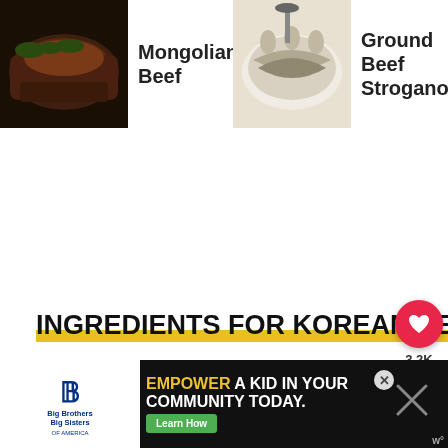[Figure (photo): Navigation bar with food recipe thumbnails: Mongolian Beef, Ground Beef Stroganoff, Creamy Be... and Shelis... with a right arrow]
Mongolian Beef
Ground Beef Stroganoff
Creamy Be... and Shelis...
INGREDIENTS FOR KOREAN BEEF BOWL
[Figure (infographic): Floating action buttons: heart/favorite button with 3.2K count, share button, and search button]
[Figure (screenshot): Advertisement banner: Big Brothers Big Sisters logo on left, EMPOWER A KID IN YOUR COMMUNITY TODAY. text with Learn How button, and close/dismiss icons on right]
1 pound ground beef from the...needbe.